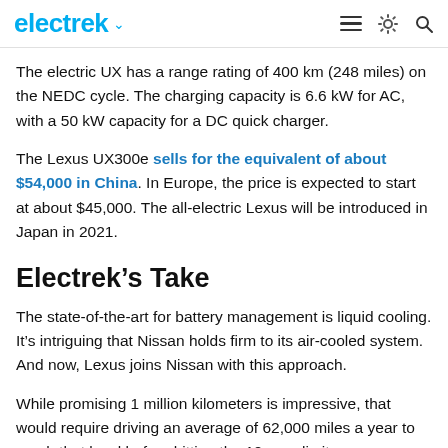electrek
The electric UX has a range rating of 400 km (248 miles) on the NEDC cycle. The charging capacity is 6.6 kW for AC, with a 50 kW capacity for a DC quick charger.
The Lexus UX300e sells for the equivalent of about $54,000 in China. In Europe, the price is expected to start at about $45,000. The all-electric Lexus will be introduced in Japan in 2021.
Electrek’s Take
The state-of-the-art for battery management is liquid cooling. It’s intriguing that Nissan holds firm to its air-cooled system. And now, Lexus joins Nissan with this approach.
While promising 1 million kilometers is impressive, that would require driving an average of 62,000 miles a year to reach that level before hitting the 10-year limit.